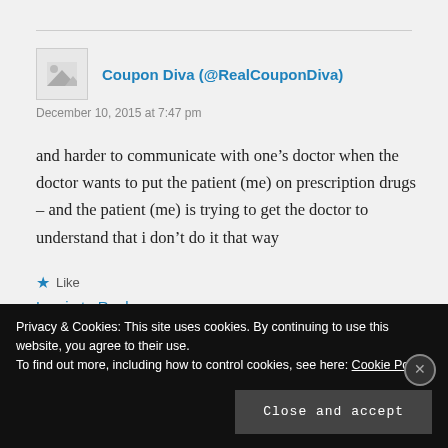Coupon Diva (@RealCouponDiva)
December 10, 2015 at 7:47 pm
and harder to communicate with one’s doctor when the doctor wants to put the patient (me) on prescription drugs – and the patient (me) is trying to get the doctor to understand that i don’t do it that way
Like
Log in to Reply
Privacy & Cookies: This site uses cookies. By continuing to use this website, you agree to their use. To find out more, including how to control cookies, see here: Cookie Policy
Close and accept